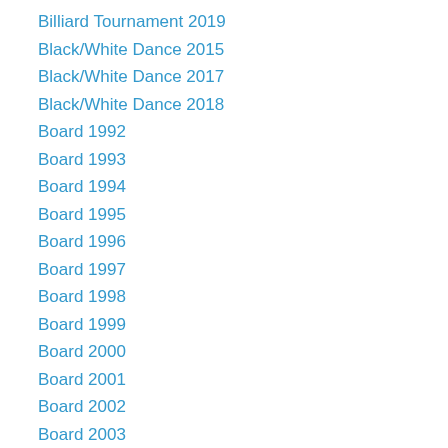Billiard Tournament 2019
Black/White Dance 2015
Black/White Dance 2017
Black/White Dance 2018
Board 1992
Board 1993
Board 1994
Board 1995
Board 1996
Board 1997
Board 1998
Board 1999
Board 2000
Board 2001
Board 2002
Board 2003
Board 2004
Board 2005
Board 2006
Board 2007